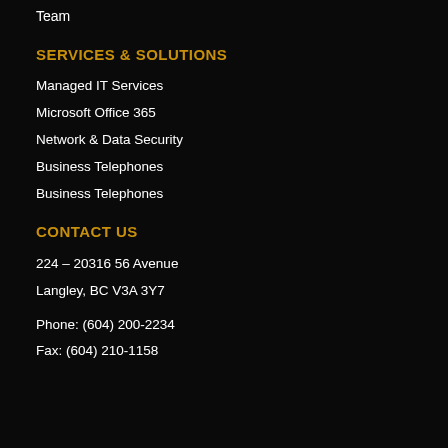Team
SERVICES & SOLUTIONS
Managed IT Services
Microsoft Office 365
Network & Data Security
Business Telephones
Business Telephones
CONTACT US
224 – 20316 56 Avenue
Langley, BC V3A 3Y7
Phone: (604) 200-2234
Fax: (604) 210-1158